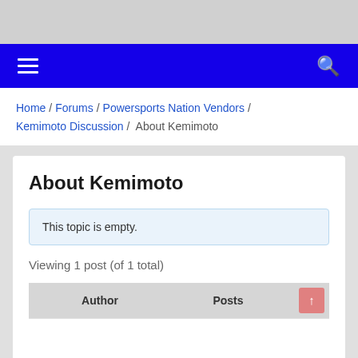[Figure (screenshot): Top banner area with dark logo block on gray background]
☰  [nav bar blue]  🔍
Home / Forums / Powersports Nation Vendors / Kemimoto Discussion / About Kemimoto
About Kemimoto
This topic is empty.
Viewing 1 post (of 1 total)
| Author | Posts |
| --- | --- |
|  |  |